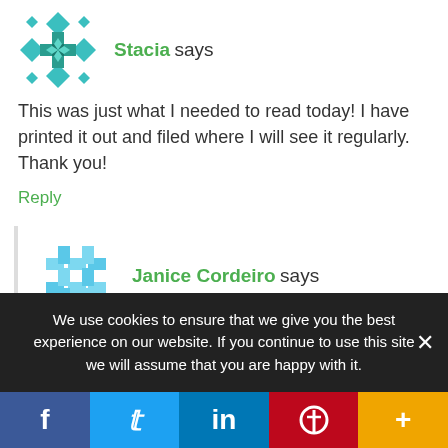[Figure (illustration): Teal geometric/snowflake avatar for user Stacia]
Stacia says
This was just what I needed to read today! I have printed it out and filed where I will see it regularly. Thank you!
Reply
[Figure (illustration): Light blue pixelated avatar for user Janice Cordeiro]
Janice Cordeiro says
Insightful article! A bit painful also. I can see myself in a few of the situations. Thank you for
We use cookies to ensure that we give you the best experience on our website. If you continue to use this site we will assume that you are happy with it.